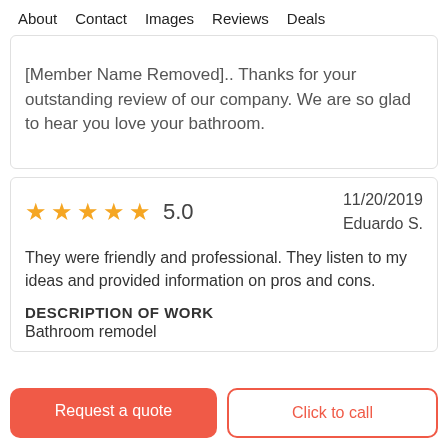About  Contact  Images  Reviews  Deals
[Member Name Removed].. Thanks for your outstanding review of our company. We are so glad to hear you love your bathroom.
★★★★★ 5.0   11/20/2019
Eduardo S.
They were friendly and professional. They listen to my ideas and provided information on pros and cons.
DESCRIPTION OF WORK
Bathroom remodel
Request a quote
Click to call